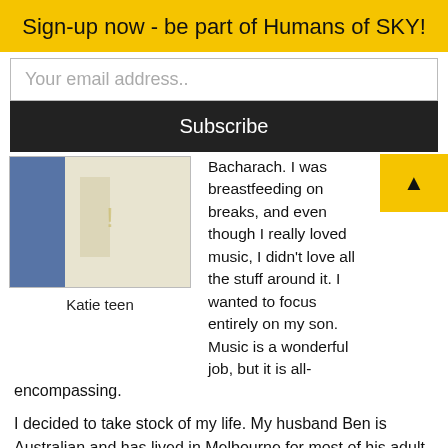Sign-up now - be part of Humans of SKY!
Your email address..
Subscribe
[Figure (photo): Photo of a person, partially visible, with blue and white clothing]
Katie teen
Bacharach. I was breastfeeding on breaks, and even though I really loved music, I didn't love all the stuff around it. I wanted to focus entirely on my son. Music is a wonderful job, but it is all-encompassing.
I decided to take stock of my life. My husband Ben is Australian and has lived in Melbourne for most of his adult life. We visited Melbourne in 2016 and had such a great time. Ben has a lot of connections with his work and we thought life is more than just doing the same thing all the time. We decided to make it our...